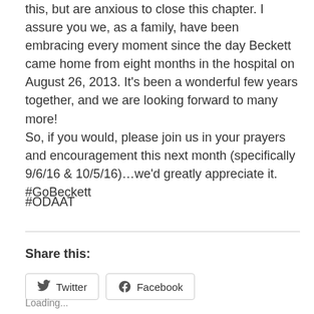this, but are anxious to close this chapter. I assure you we, as a family, have been embracing every moment since the day Beckett came home from eight months in the hospital on August 26, 2013. It's been a wonderful few years together, and we are looking forward to many more! So, if you would, please join us in your prayers and encouragement this next month (specifically 9/6/16 & 10/5/16)…we'd greatly appreciate it.
#GoBeckett
#ODAAT
Share this:
Loading...